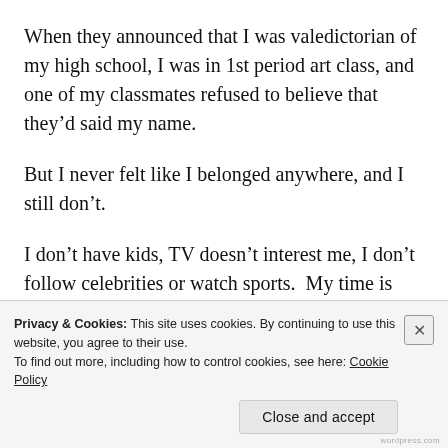When they announced that I was valedictorian of my high school, I was in 1st period art class, and one of my classmates refused to believe that they'd said my name.
But I never felt like I belonged anywhere, and I still don't.
I don't have kids, TV doesn't interest me, I don't follow celebrities or watch sports.  My time is spent with my work, and researching the things that are important to
Privacy & Cookies: This site uses cookies. By continuing to use this website, you agree to their use.
To find out more, including how to control cookies, see here: Cookie Policy